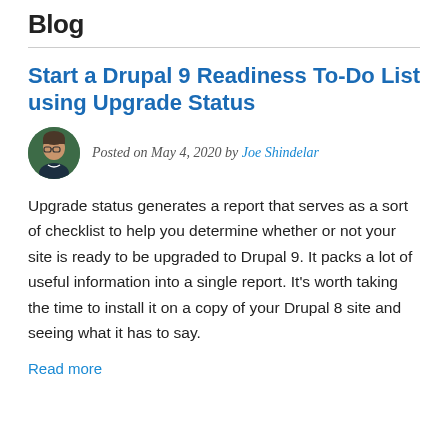Blog
Start a Drupal 9 Readiness To-Do List using Upgrade Status
Posted on May 4, 2020 by Joe Shindelar
Upgrade status generates a report that serves as a sort of checklist to help you determine whether or not your site is ready to be upgraded to Drupal 9. It packs a lot of useful information into a single report. It's worth taking the time to install it on a copy of your Drupal 8 site and seeing what it has to say.
Read more